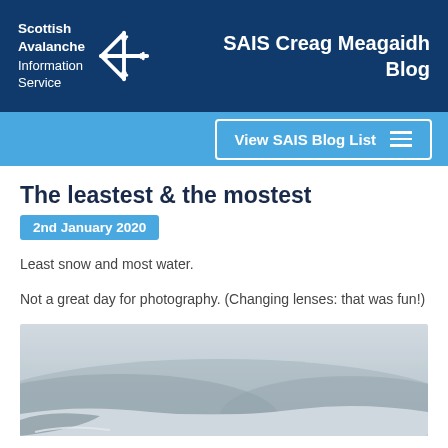Scottish Avalanche Information Service — SAIS Creag Meagaidh Blog
The leastest & the mostest
2nd January 2020
Least snow and most water.
Not a great day for photography. (Changing lenses: that was fun!)
[Figure (photo): Foggy mountain landscape photograph, grey misty conditions with snow on ground]